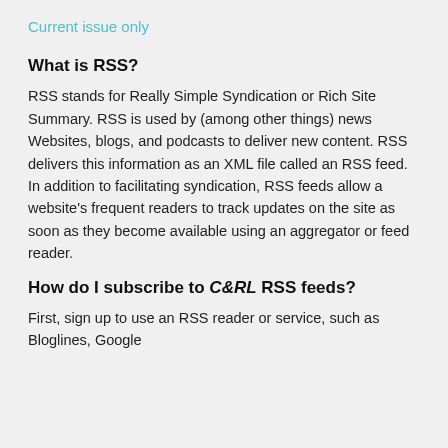Current issue only
What is RSS?
RSS stands for Really Simple Syndication or Rich Site Summary. RSS is used by (among other things) news Websites, blogs, and podcasts to deliver new content. RSS delivers this information as an XML file called an RSS feed. In addition to facilitating syndication, RSS feeds allow a website's frequent readers to track updates on the site as soon as they become available using an aggregator or feed reader.
How do I subscribe to C&RL RSS feeds?
First, sign up to use an RSS reader or service, such as Bloglines, Google